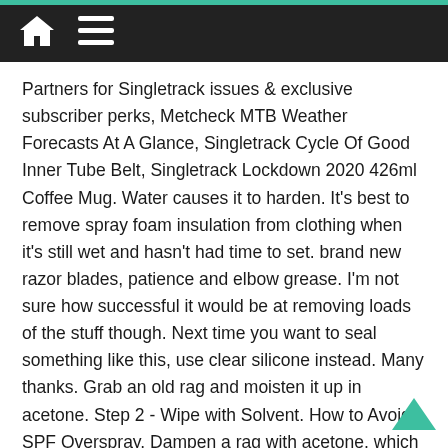Home Menu
Partners for Singletrack issues & exclusive subscriber perks, Metcheck MTB Weather Forecasts At A Glance, Singletrack Cycle Of Good Inner Tube Belt, Singletrack Lockdown 2020 426ml Coffee Mug. Water causes it to harden. It's best to remove spray foam insulation from clothing when it's still wet and hasn't had time to set. brand new razor blades, patience and elbow grease. I'm not sure how successful it would be at removing loads of the stuff though. Next time you want to seal something like this, use clear silicone instead. Many thanks. Grab an old rag and moisten it up in acetone. Step 2 - Wipe with Solvent. How to Avoid SPF Overspray. Dampen a rag with acetone, which can be found in nail polish remover, and ... Classifieds Rules Use only in well You don't want to remove the insulation yourself ... Inside the can, there is no oxygen and the can forms an air tight seal. As others have said let it dry and